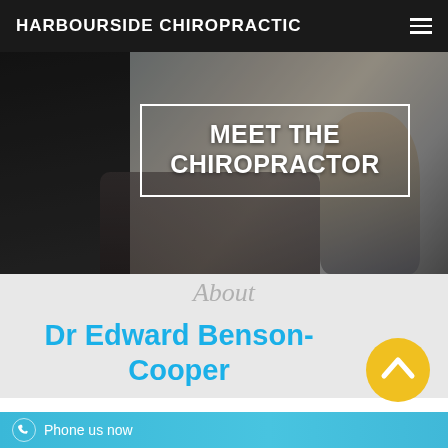HARBOURSIDE CHIROPRACTIC
[Figure (photo): Chiropractic clinic interior with practitioner treating a patient, overlaid with 'MEET THE CHIROPRACTOR' text in a white border box]
MEET THE CHIROPRACTOR
About
Dr Edward Benson-Cooper
[Figure (other): Yellow circular scroll-to-top button with upward chevron arrow]
Phone us now